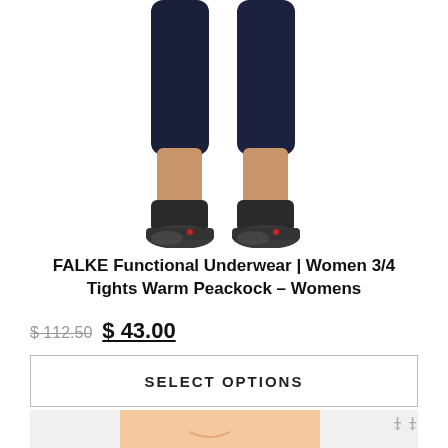[Figure (photo): Product photo showing lower half of woman wearing dark navy capri tights and black socks/shoes against white background]
FALKE Functional Underwear | Women 3/4 Tights Warm Peackock – Womens
$ 112.50  $ 43.00
SELECT OPTIONS
[Figure (photo): Bottom partial image showing SALE! badge in blue and partial view of a woman smiling]